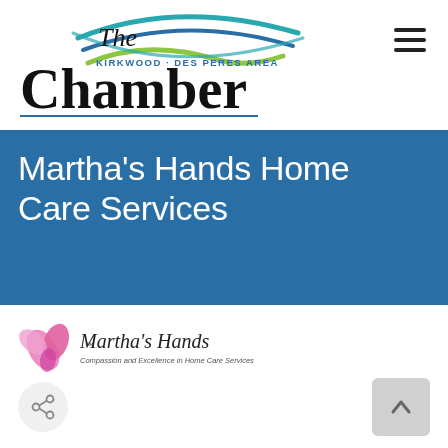[Figure (logo): The Kirkwood Des Peres Area Chamber logo with swoosh graphic marks in teal and green above the word 'Chamber' in large serif font]
[Figure (other): Hamburger menu icon (three horizontal lines) in upper right corner]
Martha’s Hands Home Care Services
[Figure (logo): Martha's Hands logo: pink flower/hand icon with text 'Martha's Hands' and tagline 'Compassion and Excellence in Home Care Services']
[Figure (other): Share icon button (circular grey button with share symbol)]
[Figure (other): Back to top button (grey rounded square with up arrow)]